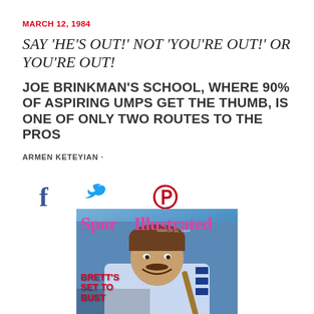MARCH 12, 1984
SAY 'HE'S OUT!' NOT 'YOU'RE OUT!' OR YOU'RE OUT!
JOE BRINKMAN'S SCHOOL, WHERE 90% OF ASPIRING UMPS GET THE THUMB, IS ONE OF ONLY TWO ROUTES TO THE PROS
ARMEN KETEYIAN ·
[Figure (illustration): Social media share icons: Facebook (f), Twitter (bird), Pinterest (p)]
[Figure (photo): Sports Illustrated magazine cover dated March 12, 1984, showing a baseball player (George Brett) smiling, wearing a blue uniform. Cover text reads 'BRETT'S SET TO BUST' in red letters.]